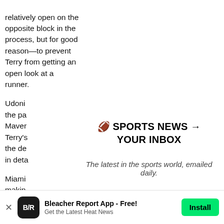relatively open on the opposite block in the process, but for good reason—to prevent Terry from getting an open look at a runner.
Udoni... the pa... Maver... Terry's... the de... in deta...
[Figure (infographic): Newsletter signup modal overlay with title '🏈 SPORTS NEWS → YOUR INBOX', subtitle 'The latest in the sports world, emailed daily.', a green 'Join Newsletter' button, and a 'Maybe Later' link]
Miami... makin... essen... kind o...
Bleacher Report App - Free! Get the Latest Heat News